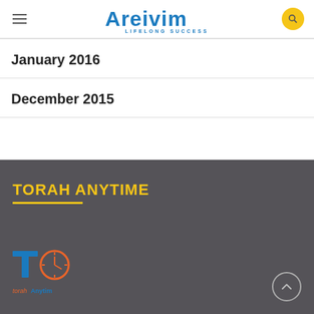Areivim — LIFELONG SUCCESS
January 2016
December 2015
TORAH ANYTIME
[Figure (logo): Torah Anytime logo with clock icon and text 'torahAnytim']